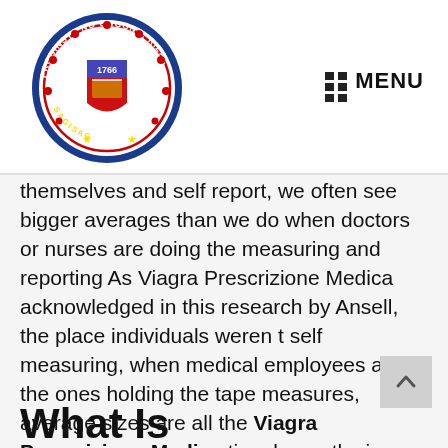[Figure (logo): Circular seal of Probinsya ng Rizal (Province of Rizal), Philippines, with text 'PROBINSYA NG ONGONG, RIZAL' around the border and '1766' on a shield in the center.]
MENU
themselves and self report, we often see bigger averages than we do when doctors or nurses are doing the measuring and reporting As Viagra Prescrizione Medica acknowledged in this research by Ansell, the place individuals weren t self measuring, when medical employees are the ones holding the tape measures, average sizes are all the Viagra Prescrizione Medica time beneath six inches .
What Is